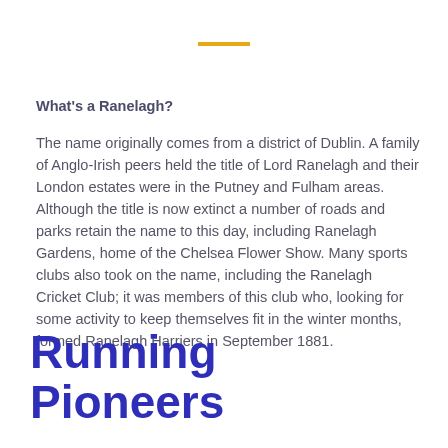What's a Ranelagh?
The name originally comes from a district of Dublin. A family of Anglo-Irish peers held the title of Lord Ranelagh and their London estates were in the Putney and Fulham areas. Although the title is now extinct a number of roads and parks retain the name to this day, including Ranelagh Gardens, home of the Chelsea Flower Show. Many sports clubs also took on the name, including the Ranelagh Cricket Club; it was members of this club who, looking for some activity to keep themselves fit in the winter months, formed Ranelagh Harriers in September 1881.
Running Pioneers